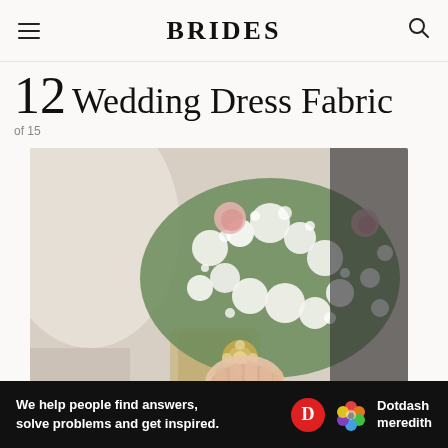BRIDES
12 Wedding Dress Fabric
of 15
[Figure (photo): Close-up photo of a bride holding a wedding bouquet with white baby's breath flowers, pink roses, greenery, and a jeweled brooch accent on the bouquet handle. Bride is wearing a white strapless wedding dress.]
Ad
[Figure (infographic): Black advertisement banner reading 'We help people find answers, solve problems and get inspired.' with Dotdash Meredith logo including red D circle and colorful flower icon.]